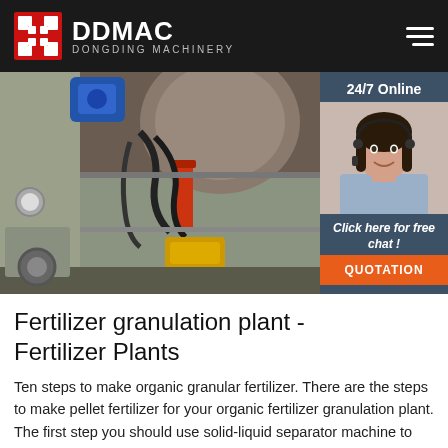DDMAC DONGDING MACHINERY
[Figure (photo): Industrial fertilizer granulation machinery with blue motor, cables, yellow component on a steel frame]
[Figure (photo): 24/7 Online customer service agent — woman with headset smiling. Sidebar with 'Click here for free chat!' and QUOTATION button.]
Fertilizer granulation plant - Fertilizer Plants
Ten steps to make organic granular fertilizer. There are the steps to make pellet fertilizer for your organic fertilizer granulation plant. The first step you should use solid-liquid separator machine to dehydrate the